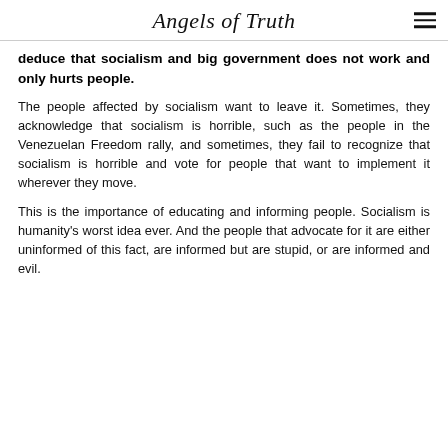Angels of Truth
deduce that socialism and big government does not work and only hurts people.
The people affected by socialism want to leave it. Sometimes, they acknowledge that socialism is horrible, such as the people in the Venezuelan Freedom rally, and sometimes, they fail to recognize that socialism is horrible and vote for people that want to implement it wherever they move.
This is the importance of educating and informing people. Socialism is humanity's worst idea ever. And the people that advocate for it are either uninformed of this fact, are informed but are stupid, or are informed and evil.